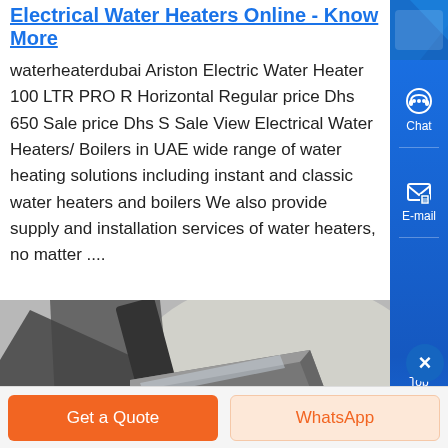Electrical Water Heaters Online - Know More
waterheaterdubai Ariston Electric Water Heater 100 LTR PRO R Horizontal Regular price Dhs 650 Sale price Dhs Sale View Electrical Water Heaters/ Boilers in UAE wide range of water heating solutions including instant and classic water heaters and boilers We also provide supply and installation services of water heaters, no matter ....
[Figure (photo): Close-up photograph of metal water heater components, showing dark metallic rectangular parts that appear to be heating elements or boiler parts in grayscale tones.]
[Figure (screenshot): Right sidebar with blue background containing Chat and E-mail icons with labels, and a Top navigation button.]
Get a Quote
WhatsApp